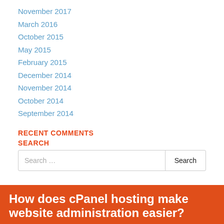November 2017
March 2016
October 2015
May 2015
February 2015
December 2014
November 2014
October 2014
September 2014
RECENT COMMENTS
SEARCH
How does cPanel hosting make website administration easier?
Posted on March 18, 2016 by tier_admin
If you want to host a business website, personal blog,